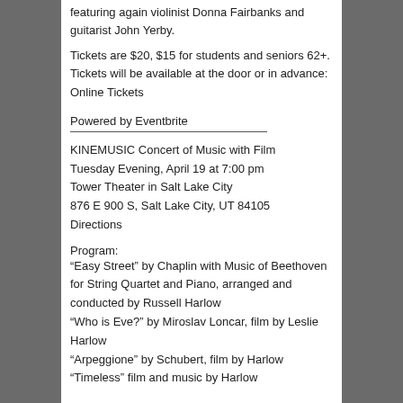featuring again violinist Donna Fairbanks and guitarist John Yerby.
Tickets are $20, $15 for students and seniors 62+. Tickets will be available at the door or in advance: Online Tickets
Powered by Eventbrite
KINEMUSIC Concert of Music with Film
Tuesday Evening, April 19 at 7:00 pm
Tower Theater in Salt Lake City
876 E 900 S, Salt Lake City, UT 84105
Directions
Program:
“Easy Street” by Chaplin with Music of Beethoven for String Quartet and Piano, arranged and conducted by Russell Harlow
“Who is Eve?” by Miroslav Loncar, film by Leslie Harlow
“Arpeggione” by Schubert, film by Harlow
“Timeless” film and music by Harlow